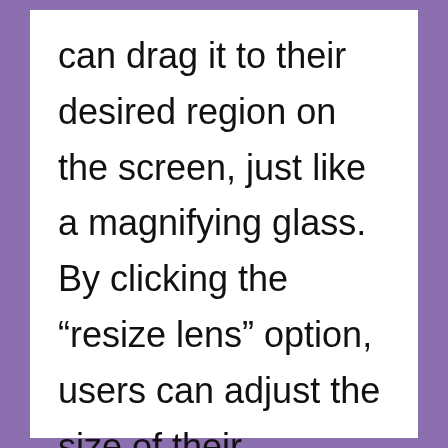can drag it to their desired region on the screen, just like a magnifying glass. By clicking the “resize lens” option, users can adjust the size of their magnification window to be as large or as small as needed. Users do not need to set their